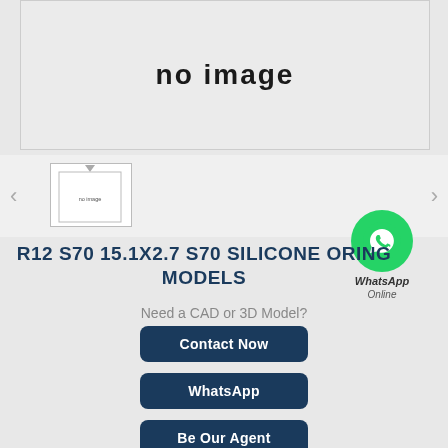[Figure (photo): Large placeholder image area with 'no image' text in bold]
[Figure (photo): Small thumbnail showing 'no image' placeholder with navigation arrows on both sides]
[Figure (photo): WhatsApp green circle icon with phone handset, labeled 'WhatsApp Online']
R12 S70 15.1X2.7 S70 SILICONE ORING MODELS
Need a CAD or 3D Model?
Contact Now
WhatsApp
Be Our Agent